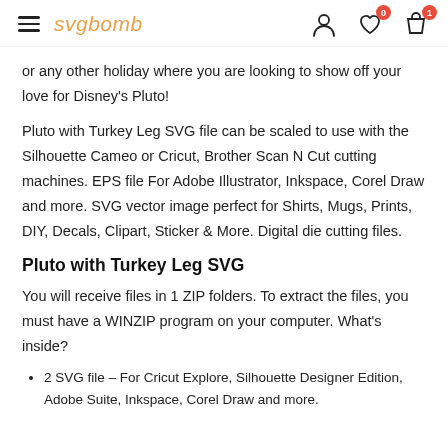svgbomb
or any other holiday where you are looking to show off your love for Disney's Pluto!
Pluto with Turkey Leg SVG file can be scaled to use with the Silhouette Cameo or Cricut, Brother Scan N Cut cutting machines. EPS file For Adobe Illustrator, Inkspace, Corel Draw and more. SVG vector image perfect for Shirts, Mugs, Prints, DIY, Decals, Clipart, Sticker & More. Digital die cutting files.
Pluto with Turkey Leg SVG
You will receive files in 1 ZIP folders. To extract the files, you must have a WINZIP program on your computer. What's inside?
2 SVG file – For Cricut Explore, Silhouette Designer Edition, Adobe Suite, Inkspace, Corel Draw and more.